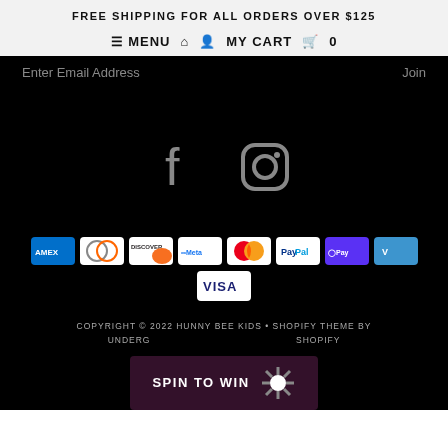FREE SHIPPING FOR ALL ORDERS OVER $125
≡ MENU 🏠 👤 MY CART 🛒 0
Enter Email Address   Join
[Figure (illustration): Facebook and Instagram social media icons in gray on black background]
[Figure (illustration): Payment method badges: American Express, Diners Club, Discover, Meta Pay, Mastercard, PayPal, Shop Pay, Venmo, Visa]
COPYRIGHT © 2022 HUNNY BEE KIDS • SHOPIFY THEME BY UNDERGROUND • SHOPIFY
SPIN TO WIN